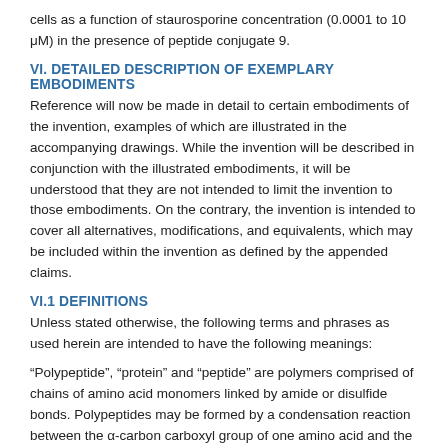cells as a function of staurosporine concentration (0.0001 to 10 μM) in the presence of peptide conjugate 9.
VI. DETAILED DESCRIPTION OF EXEMPLARY EMBODIMENTS
Reference will now be made in detail to certain embodiments of the invention, examples of which are illustrated in the accompanying drawings. While the invention will be described in conjunction with the illustrated embodiments, it will be understood that they are not intended to limit the invention to those embodiments. On the contrary, the invention is intended to cover all alternatives, modifications, and equivalents, which may be included within the invention as defined by the appended claims.
VI.1 DEFINITIONS
Unless stated otherwise, the following terms and phrases as used herein are intended to have the following meanings:
“Polypeptide”, “protein” and “peptide” are polymers comprised of chains of amino acid monomers linked by amide or disulfide bonds. Polypeptides may be formed by a condensation reaction between the α-carbon carboxyl group of one amino acid and the amino group of another amino acid. Amino acids include the 20 or so that occur naturally and are gene-encoded, as well as analogs of amino acids. All of the amino acids used in the present invention may be either the D- or L-optical isomer. In addition, other peptidomimetics are also useful (Spatola, (1983) in Chemistry and Biochemistry of Amino Acids, Peptides, and Proteins, Weinstein, ed.